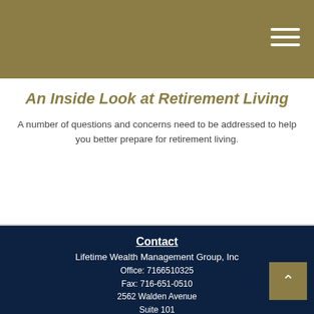[Figure (other): Olive/gold colored header bar with hamburger menu icon (three white horizontal lines) in the top right corner]
An Inside Look at Retirement Living
A number of questions and concerns need to be addressed to help you better prepare for retirement living.
Contact
Lifetime Wealth Management Group, Inc
Office: 7166510325
Fax: 716-651-0510
2562 Walden Avenue
Suite 101
Cheektowaga, NY 14225
robert@lifetimebuffalo.com